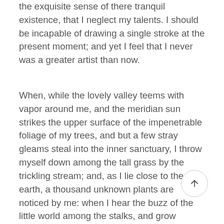the exquisite sense of there tranquil existence, that I neglect my talents. I should be incapable of drawing a single stroke at the present moment; and yet I feel that I never was a greater artist than now.
When, while the lovely valley teems with vapor around me, and the meridian sun strikes the upper surface of the impenetrable foliage of my trees, and but a few stray gleams steal into the inner sanctuary, I throw myself down among the tall grass by the trickling stream; and, as I lie close to the earth, a thousand unknown plants are noticed by me: when I hear the buzz of the little world among the stalks, and grow familiar with the countless indescribable forms of the insects and flies, then I feel the presence of the Almighty, who formed us in his own image, and the breath of that universal love which bears and sustains us